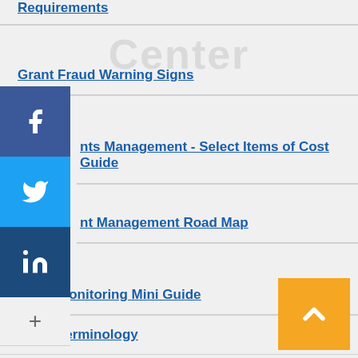Requirements
Grant Fraud Warning Signs
Grants Management - Select Items of Cost Guide
Grant Management Road Map
Grant Monitoring Mini Guide
Grant Terminology